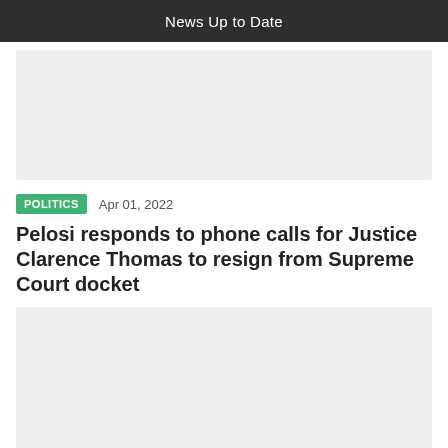News Up to Date
[Figure (other): Advertisement placeholder block (top)]
POLITICS   Apr 01, 2022
Pelosi responds to phone calls for Justice Clarence Thomas to resign from Supreme Court docket
[Figure (other): Advertisement placeholder block (bottom)]